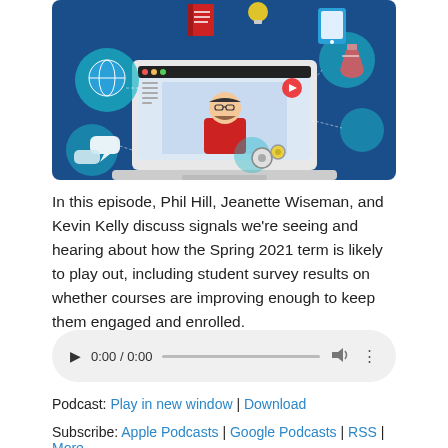[Figure (illustration): Colorful digital education illustration showing a laptop with a video lecture (man with glasses and beard), surrounded by icons: a brain/globe, a book, a play button, a tablet, a lightbulb, chemistry flask, gears, chat bubbles, on a dark blue background.]
In this episode, Phil Hill, Jeanette Wiseman, and Kevin Kelly discuss signals we're seeing and hearing about how the Spring 2021 term is likely to play out, including student survey results on whether courses are improving enough to keep them engaged and enrolled.
[Figure (other): Audio player widget showing play button, time 0:00 / 0:00, progress bar, volume icon, and more options icon.]
Podcast: Play in new window | Download
Subscribe: Apple Podcasts | Google Podcasts | RSS | More